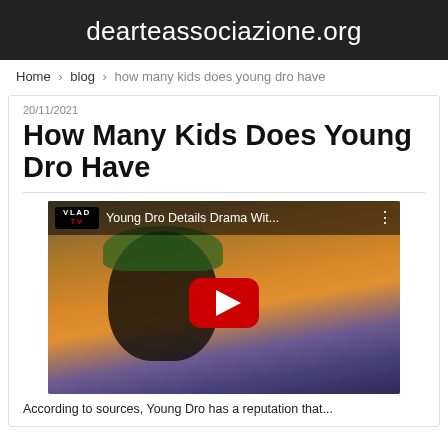dearteassociazione.org
Home › blog › how many kids does young dro have
20/11/2021
How Many Kids Does Young Dro Have
[Figure (screenshot): YouTube video thumbnail showing 'Young Dro Details Drama Wit...' with VLAD TV logo and a red play button, showing a man in an orange jacket with sunglasses]
According to sources, Young Dro has a reputation that...